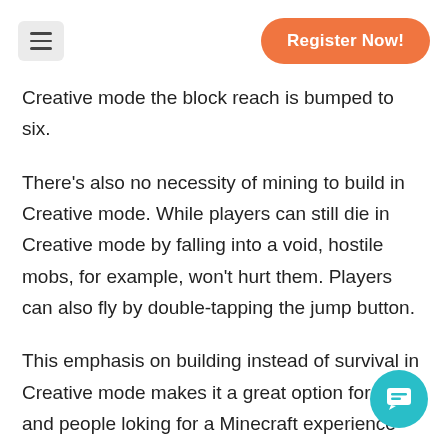Register Now!
Creative mode the block reach is bumped to six.
There's also no necessity of mining to build in Creative mode. While players can still die in Creative mode by falling into a void, hostile mobs, for example, won't hurt them. Players can also fly by double-tapping the jump button.
This emphasis on building instead of survival in Creative mode makes it a great option for kids and people looking for a Minecraft experience taken back to the basics.